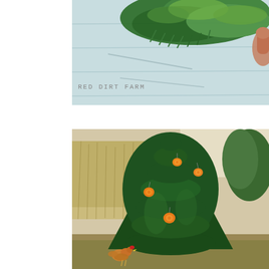[Figure (photo): Close-up photo of green foliage/pine branches with a hand visible at the right edge, against a light blue/white wooden background. Watermark text 'RED DIRT FARM' overlaid on lower left.]
[Figure (photo): Outdoor photo of a Christmas/evergreen tree decorated with dried orange slice ornaments hanging from its branches. Background shows dry grasses and outdoor farm setting. A chicken is visible at the lower left base of the tree.]